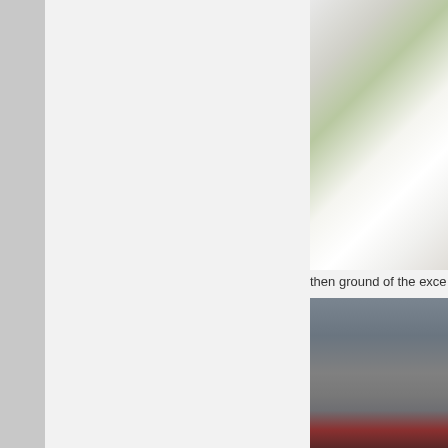[Figure (photo): Partial view of a photo showing outdoor scene with white clothing and green foliage, cropped at right edge]
then ground of the exce
[Figure (photo): Partial view of a dark photo, appearing to show a dimly lit scene with dark reddish tones at the bottom, cropped at right edge]